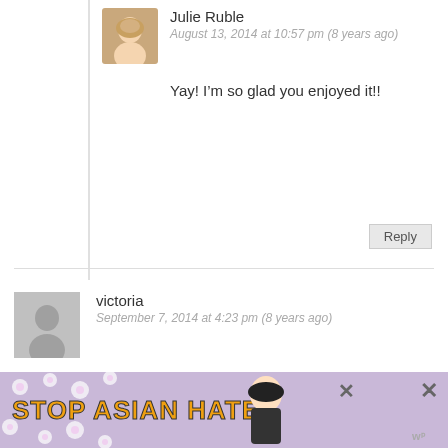Julie Ruble
August 13, 2014 at 10:57 pm (8 years ago)
Yay! I’m so glad you enjoyed it!!
Reply
victoria
September 7, 2014 at 4:23 pm (8 years ago)
Just want to let you know that i made this for a friend for her birthday and took it to work to share and everyone loved it! Although it was very time consuming to make, this is such a good recipe and I will be keeping it handy because now someone else has asked me to make this for them. Also, the 3/8 c and 3/8 tbsp through me off was wondering if you could
[Figure (infographic): Stop Asian Hate advertisement banner with purple floral background, anime character, and close buttons]